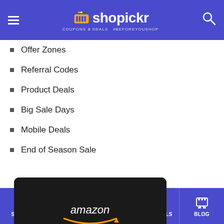shopickr - COUPONS & DEALS #BEFOREYOUSHOP
Offer Zones
Referral Codes
Product Deals
Big Sale Days
Mobile Deals
End of Season Sale
[Figure (logo): Amazon Deals of the Day promotional banner on dark background with orange and white text]
Flight Ticket Sale
Recent Blogs
STORES | CATEGORIES | HOME | HOT DEALS | BLOG